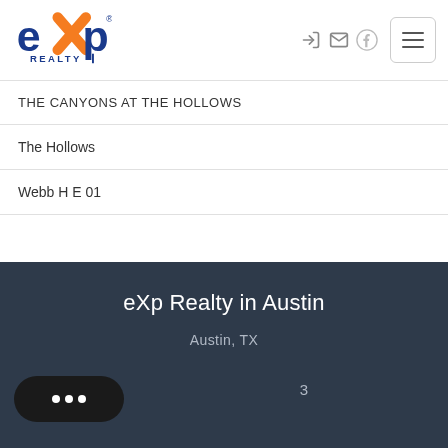[Figure (logo): eXp Realty logo with orange X and blue text]
THE CANYONS AT THE HOLLOWS
The Hollows
Webb H E 01
eXp Realty in Austin
Austin, TX
3